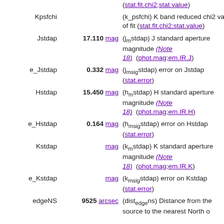| Name | Value | Description |
| --- | --- | --- |
|  |  | (stat.fit.chi2;stat.value) |
| Kpsfchi |  | (k_psfchi) K band reduced chi2 value of fit (stat.fit.chi2;stat.value) |
| Jstdap | 17.110 mag | (j_m stdap) J standard aperture magnitude (Note 18) (phot.mag;em.IR.J) |
| e_Jstdap | 0.332 mag | (j_msig stdap) error on Jstdap (stat.error) |
| Hstdap | 15.450 mag | (h_m stdap) H standard aperture magnitude (Note 18) (phot.mag;em.IR.H) |
| e_Hstdap | 0.164 mag | (h_msig stdap) error on Hstdap (stat.error) |
| Kstdap | mag | (k_m stdap) K standard aperture magnitude (Note 18) (phot.mag;em.IR.K) |
| e_Kstdap | mag | (k_msig stdap) error on Kstdap (stat.error) |
| edgeNS | 9525 arcsec | (dist_edge ns) Distance from the source to the nearest North or South edge |